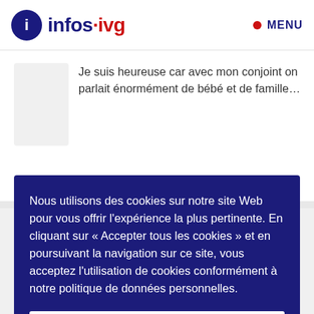infos·ivg  MENU
Je suis heureuse car avec mon conjoint on parlait énormément de bébé et de famille...
♡ 80   🔁 2   💬 8
Nous utilisons des cookies sur notre site Web pour vous offrir l'expérience la plus pertinente. En cliquant sur « Accepter tous les cookies » et en poursuivant la navigation sur ce site, vous acceptez l'utilisation de cookies conformément à notre politique de données personnelles.
Accepter tous les cookies
Politique de confidentialité